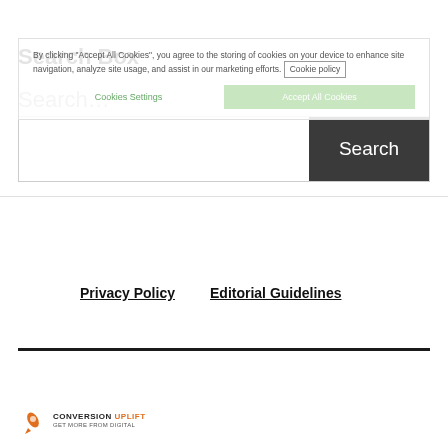Search Box
By clicking “Accept All Cookies”, you agree to the storing of cookies on your device to enhance site navigation, analyze site usage, and assist in our marketing efforts. Cookie policy
Search…
[Figure (screenshot): Search bar with white input area on left and dark grey Search button on right]
Privacy Policy
Editorial Guidelines
[Figure (logo): Conversion Uplift logo with rocket icon and tagline Get More From Digital]